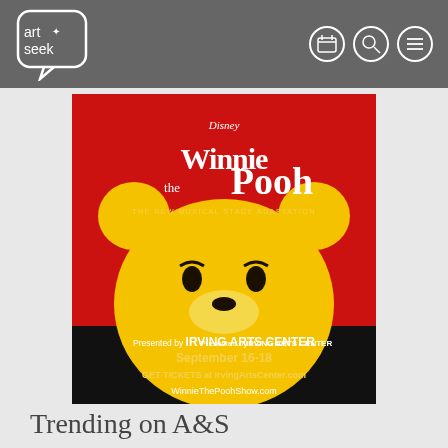[Figure (logo): ArtSeek logo — rounded speech bubble outline with 'art seek' text and a plus/star icon, white on gray background]
[Figure (illustration): Disney Winnie the Pooh: The New Musical Stage Adaptation promotional poster. Red background with Pooh's face peeking up from the bottom. Black bar at bottom: 'Presented by IRVING ARTS CENTER / September 16-18 / GET TICKETS at IrvingArtsCenter.com / WinnieThePoohShow.com']
Trending on A&S